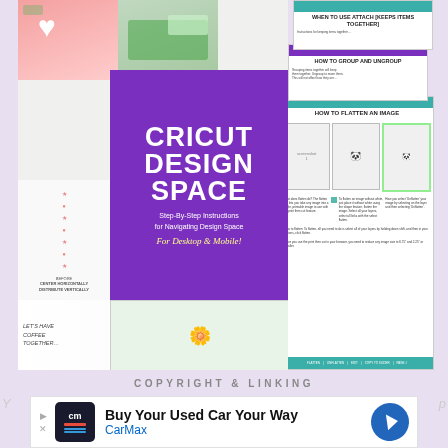[Figure (illustration): Composite image showing a Cricut Design Space book cover (purple) with title 'CRICUT DESIGN SPACE' and subtitle 'Step-By-Step Instructions for Navigating Design Space For Desktop & Mobile!', surrounded by tutorial screenshots showing 'WHEN TO USE ATTACH', 'HOW TO GROUP AND UNGROUP', 'HOW TO FLATTEN AN IMAGE', craft project photos including Easter bunnies, mugs, and a sunflower.]
COPYRIGHT & LINKING
[Figure (screenshot): Advertisement banner: 'Buy Your Used Car Your Way' with CarMax logo and navigation icon.]